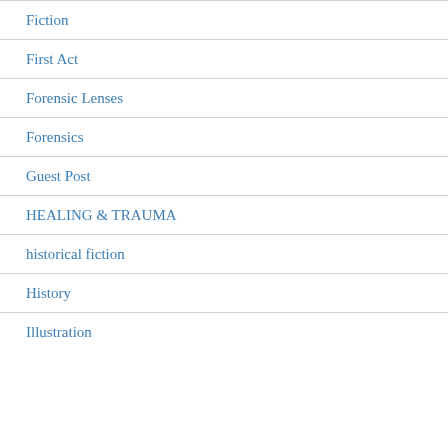Fiction
First Act
Forensic Lenses
Forensics
Guest Post
HEALING & TRAUMA
historical fiction
History
Illustration